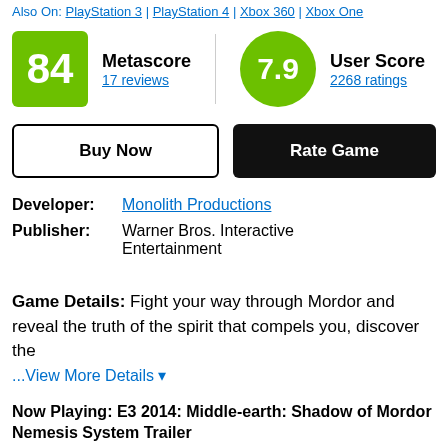Also On: PlayStation 3 | PlayStation 4 | Xbox 360 | Xbox One
Metascore 17 reviews | User Score 2268 ratings
Buy Now | Rate Game
Developer: Monolith Productions
Publisher: Warner Bros. Interactive Entertainment
Game Details: Fight your way through Mordor and reveal the truth of the spirit that compels you, discover the
...View More Details
Now Playing: E3 2014: Middle-earth: Shadow of Mordor Nemesis System Trailer